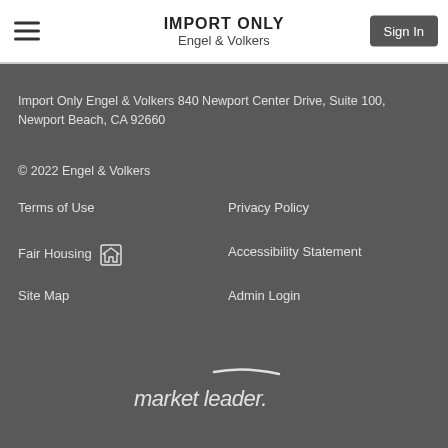IMPORT ONLY
Engel & Volkers
Import Only Engel & Volkers 840 Newport Center Drive, Suite 100, Newport Beach, CA 92660
© 2022 Engel & Volkers
Terms of Use
Privacy Policy
Fair Housing
Accessibility Statement
Site Map
Admin Login
[Figure (logo): market leader. wordmark logo in white]